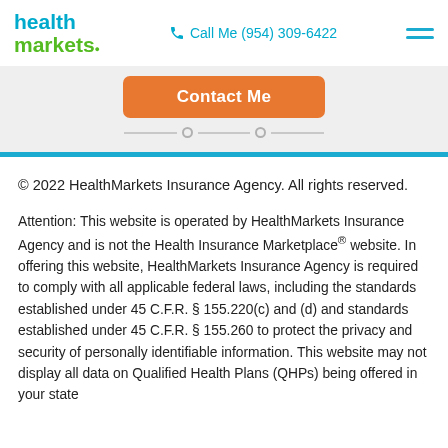health markets | Call Me (954) 309-6422
[Figure (other): Orange 'Contact Me' button with decorative underline dots on grey background]
© 2022 HealthMarkets Insurance Agency. All rights reserved.
Attention: This website is operated by HealthMarkets Insurance Agency and is not the Health Insurance Marketplace® website. In offering this website, HealthMarkets Insurance Agency is required to comply with all applicable federal laws, including the standards established under 45 C.F.R. § 155.220(c) and (d) and standards established under 45 C.F.R. § 155.260 to protect the privacy and security of personally identifiable information. This website may not display all data on Qualified Health Plans (QHPs) being offered in your state